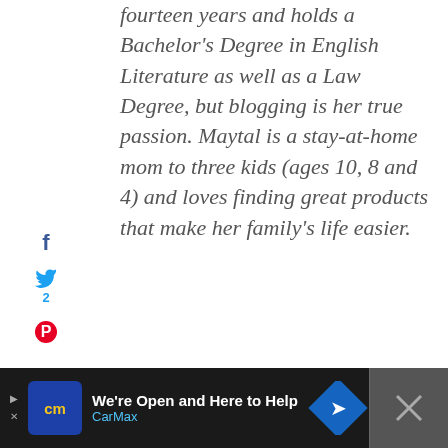fourteen years and holds a Bachelor's Degree in English Literature as well as a Law Degree, but blogging is her true passion. Maytal is a stay-at-home mom to three kids (ages 10, 8 and 4) and loves finding great products that make her family's life easier.
[Figure (infographic): Social sharing sidebar with Facebook, Twitter (2 shares), and Pinterest icons]
2 SHARES
[Figure (infographic): Right-side floating share buttons: heart (dark blue circle), count 3, and share icon]
[Figure (infographic): Advertisement bar: CarMax - We're Open and Here to Help]